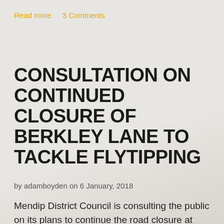Read more    3 Comments
CONSULTATION ON CONTINUED CLOSURE OF BERKLEY LANE TO TACKLE FLYTIPPING
by adamboyden on 6 January, 2018
Mendip District Council is consulting the public on its plans to continue the road closure at Berkley Lane, to the east of